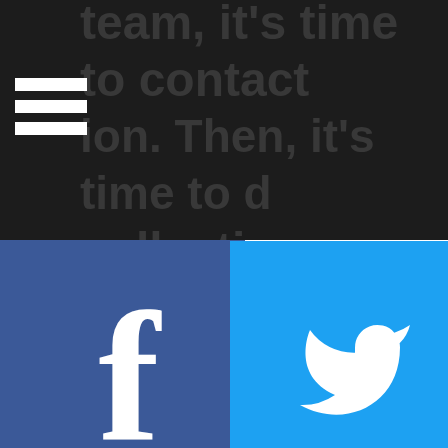team, it's time to contact... ion. Then, it's time to develop a collective action strategy... n has moved... e team... have to fight to make workplaces safe. Moreover, can go before various tribunals... healthcare professionals... can question the employ...
[Figure (logo): Hamburger menu icon (three white horizontal lines)]
[Figure (logo): Facebook logo - white 'f' on blue background]
[Figure (logo): Twitter bird logo on cyan/blue background]
[Figure (logo): YouTube play button logo on red background]
[Figure (logo): Flickr two-circle logo (blue and pink dots) on light background]
[Figure (logo): Add person icon (white silhouette with plus sign)]
Newsletter
[Figure (logo): Globe/web icon with pencil (white outline) on dark background]